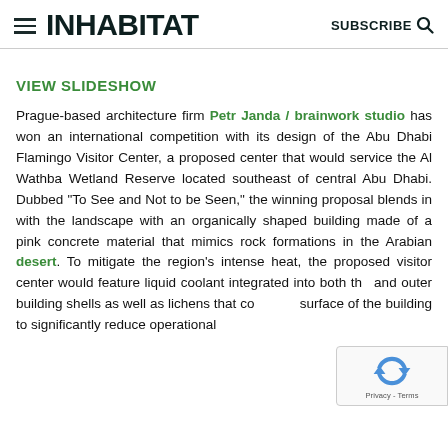INHABITAT  SUBSCRIBE
VIEW SLIDESHOW
Prague-based architecture firm Petr Janda / brainwork studio has won an international competition with its design of the Abu Dhabi Flamingo Visitor Center, a proposed center that would service the Al Wathba Wetland Reserve located southeast of central Abu Dhabi. Dubbed “To See and Not to be Seen,” the winning proposal blends in with the landscape with an organically shaped building made of a pink concrete material that mimics rock formations in the Arabian desert. To mitigate the region’s intense heat, the proposed visitor center would feature liquid coolant integrated into both the and outer building shells as well as lichens that co surface of the building to significantly reduce operational